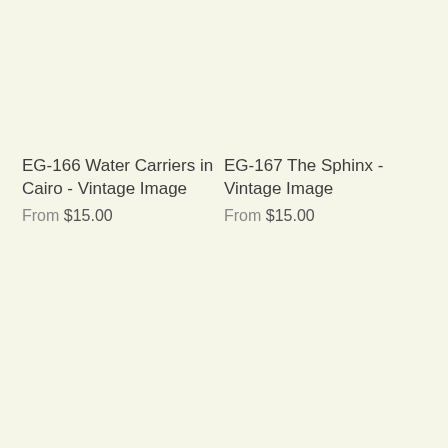EG-166 Water Carriers in Cairo - Vintage Image
From $15.00
EG-167 The Sphinx - Vintage Image
From $15.00